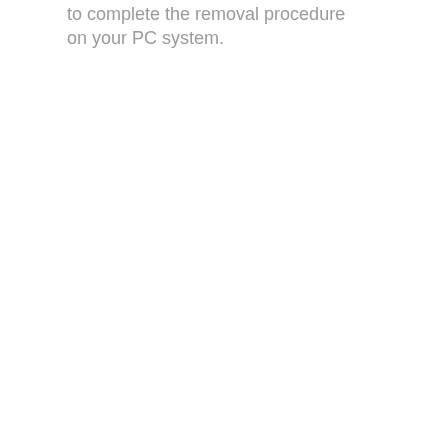to complete the removal procedure on your PC system.